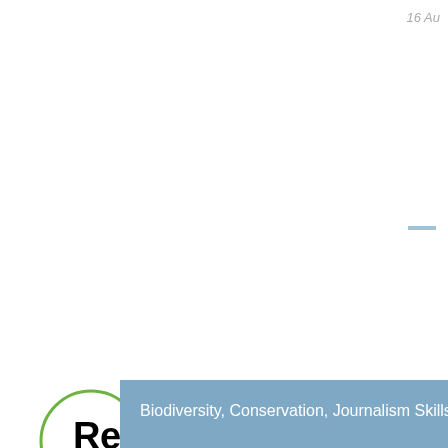16 Au
Reporter Resources
Biodiversity, Conservation, Journalism Skills,